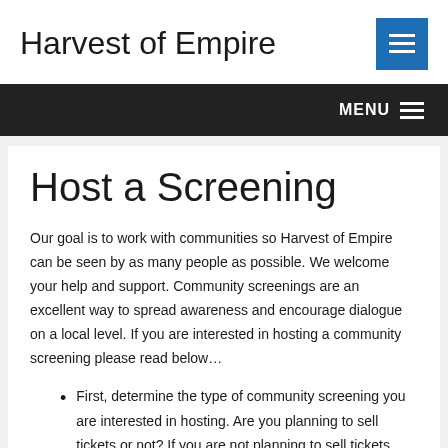Harvest of Empire
MENU
Host a Screening
Our goal is to work with communities so Harvest of Empire can be seen by as many people as possible. We welcome your help and support. Community screenings are an excellent way to spread awareness and encourage dialogue on a local level. If you are interested in hosting a community screening please read below…
First, determine the type of community screening you are interested in hosting. Are you planning to sell tickets or not? If you are not planning to sell tickets, you will receive a